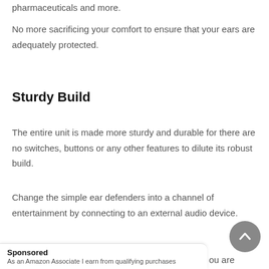pharmaceuticals and more.
No more sacrificing your comfort to ensure that your ears are adequately protected.
Sturdy Build
The entire unit is made more sturdy and durable for there are no switches, buttons or any other features to dilute its robust build.
Change the simple ear defenders into a channel of entertainment by connecting to an external audio device.
Sponsored
As an Amazon Associate I earn from qualifying purchases
ou are